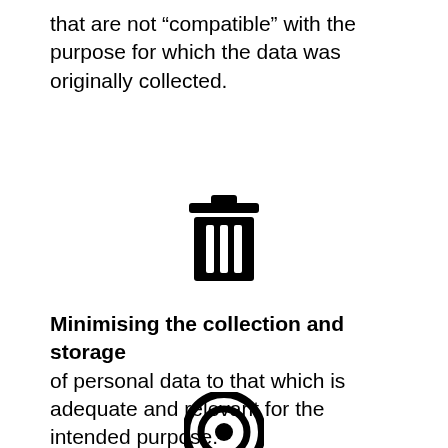that are not “compatible” with the purpose for which the data was originally collected.
[Figure (illustration): Black trash can / bin icon]
Minimising the collection and storage of personal data to that which is adequate and relevant for the intended purpose.
[Figure (illustration): Black target / bullseye icon (partially visible at bottom)]